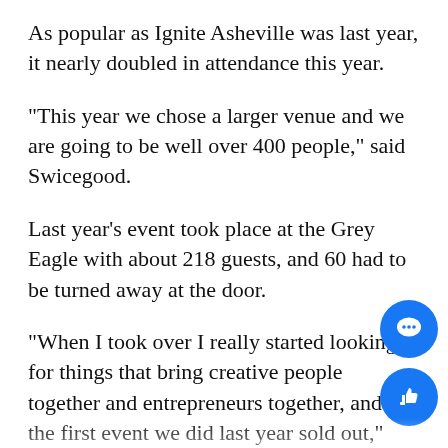As popular as Ignite Asheville was last year, it nearly doubled in attendance this year.
“This year we chose a larger venue and we are going to be well over 400 people,” said Swicegood.
Last year’s event took place at the Grey Eagle with about 218 guests, and 60 had to be turned away at the door.
“When I took over I really started looking for things that bring creative people together and entrepreneurs together, and so the first event we did last year sold out,” said Pam Lewis, the director of entrepreneurship. “That was really good validation that yes, this is a good thing that folks in Asheville want to do. So we moved it to a bigger venue.”
Even after moving to a larger venue, the show almost